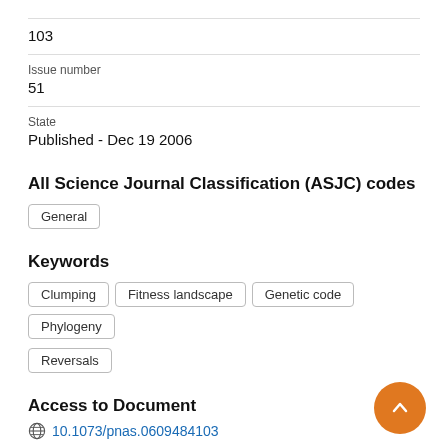103
Issue number
51
State
Published - Dec 19 2006
All Science Journal Classification (ASJC) codes
General
Keywords
Clumping
Fitness landscape
Genetic code
Phylogeny
Reversals
Access to Document
10.1073/pnas.0609484103